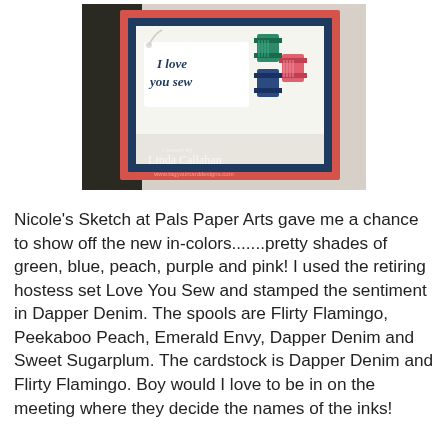[Figure (photo): A handmade greeting card with coral/red frame, dark navy inner border, white panel, and thread spools in various colors. Card reads 'I love you sew' in dark blue script. Watermark reads 'Created by Linda Callahan' with website URL.]
Nicole's Sketch at Pals Paper Arts gave me a chance to show off the new in-colors.......pretty shades of green, blue, peach, purple and pink!  I used the retiring hostess set Love You Sew and stamped the sentiment in Dapper Denim.  The spools are Flirty Flamingo, Peekaboo Peach, Emerald Envy, Dapper Denim and Sweet Sugarplum.  The cardstock is Dapper Denim and Flirty Flamingo. Boy would I love to be in on the meeting where they decide the names of the inks!